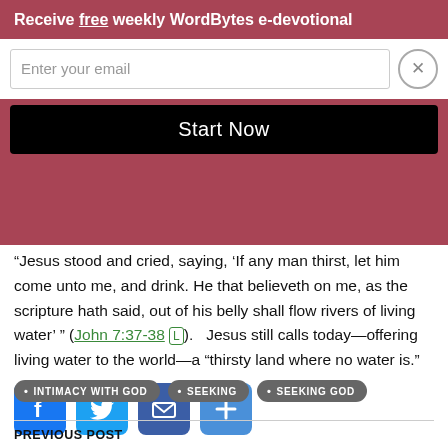and Creator knows and possesses what is needed for spiritual and emotional "dryness". Our Creator truly satisfies! It was in seeking God that David found spiritual relief for his thirst.
Receive free weekly WordBytes e-devotional
Enter your email
Start Now
David... offered Himself as the source of relief for the thirsty soul.
“Jesus stood and cried, saying, ‘If any man thirst, let him come unto me, and drink. He that believeth on me, as the scripture hath said, out of his belly shall flow rivers of living water’ ” (John 7:37-38).   Jesus still calls today—offering living water to the world—a “thirsty land where no water is.”
[Figure (screenshot): Social sharing icons: Facebook (blue), Twitter (light blue), Email (dark blue), Share/plus (blue)]
INTIMACY WITH GOD
SEEKING
SEEKING GOD
PREVIOUS POST